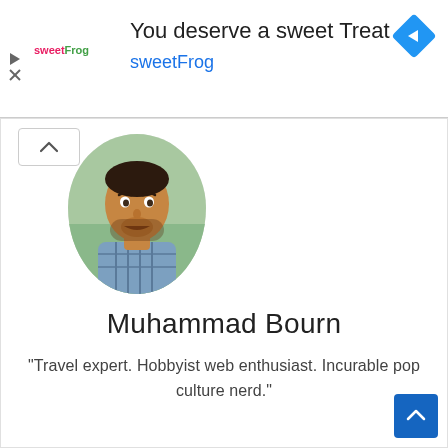[Figure (screenshot): Advertisement banner for sweetFrog frozen yogurt. Contains sweetFrog logo, headline 'You deserve a sweet Treat', subtext 'sweetFrog', navigation diamond icon, and ad controls (play and close icons).]
[Figure (photo): Oval-framed profile photo of Muhammad Bourn, a man in a plaid shirt, against a light background.]
Muhammad Bourn
"Travel expert. Hobbyist web enthusiast. Incurable pop culture nerd."